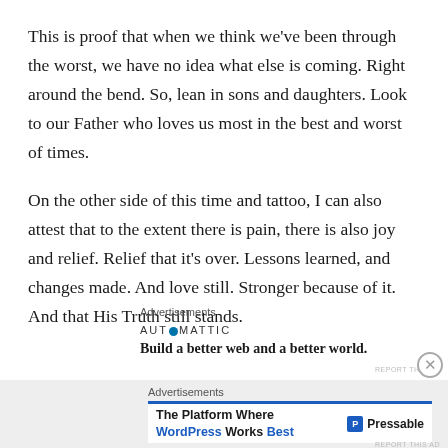This is proof that when we think we've been through the worst, we have no idea what else is coming. Right around the bend. So, lean in sons and daughters. Look to our Father who loves us most in the best and worst of times.
On the other side of this time and tattoo, I can also attest that to the extent there is pain, there is also joy and relief. Relief that it's over. Lessons learned, and changes made. And love still. Stronger because of it. And that His Truth still stands.
Advertisements
[Figure (screenshot): Automattic advertisement: logo text 'AUT⊙MATTIC' with tagline 'Build a better web and a better world.']
REPORT THIS AD
Advertisements
[Figure (screenshot): Pressable advertisement: 'The Platform Where WordPress Works Best' with Pressable logo on the right. Blue top border.]